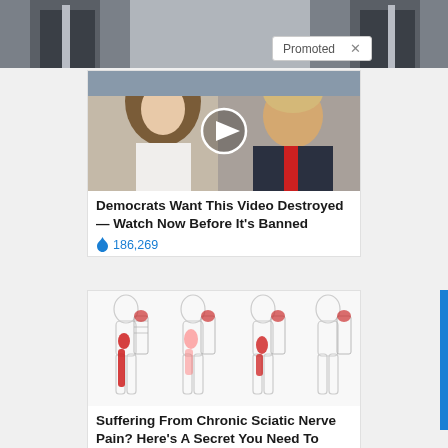[Figure (photo): Top strip showing partial photo of people in dark suits]
Promoted ×
[Figure (photo): Video thumbnail showing two people — a woman with long hair and a man in a suit with a red tie — with a play button overlay]
Democrats Want This Video Destroyed — Watch Now Before It's Banned
🔥 186,269
[Figure (illustration): Medical illustration showing four views of human body outlines highlighting sciatic nerve pain areas in red along the hip and leg]
Suffering From Chronic Sciatic Nerve Pain? Here's A Secret You Need To Know
🔥 79,344